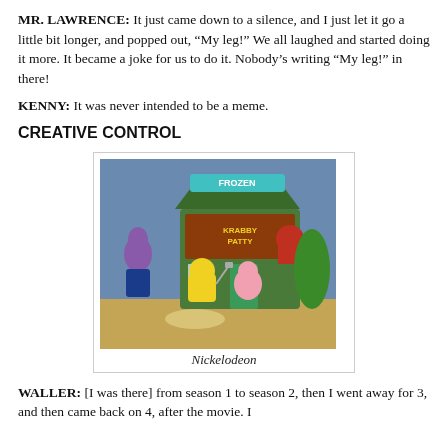MR. LAWRENCE: It just came down to a silence, and I just let it go a little bit longer, and popped out, “My leg!” We all laughed and started doing it more. It became a joke for us to do it. Nobody’s writing “My leg!” in there!
KENNY: It was never intended to be a meme.
CREATIVE CONTROL
[Figure (photo): A SpongeBob SquarePants animated scene showing SpongeBob and other characters in front of a Frozen Krabby Patty stand. Characters include a purple fish in a suit, SpongeBob holding a spatula, Patrick Star, Mr. Krabs, and a large green figure. The sign reads 'Frozen Krabby Patty'.]
Nickelodeon
WALLER: [I was there] from season 1 to season 2, then I went away for 3, and then came back on 4, after the movie. I